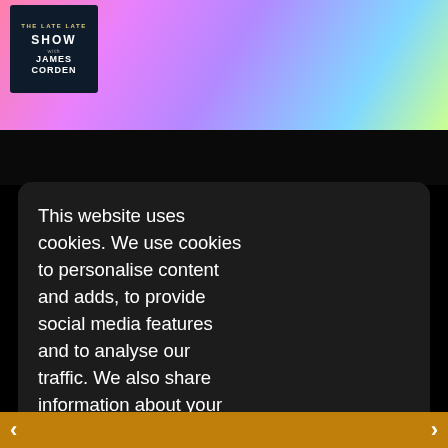[Figure (screenshot): Top portion of a website showing a TV show banner with 'The Late Late Show with James Corden' logo on the left and colorful background with people]
This website uses cookies. We use cookies to personalise content and adds, to provide social media features and to analyse our traffic. We also share information about your use of our site with our social media, advertising and analytics partners who may combine it with other information that you've provided to them or that they've collected from your use of their services. Learn more
[Figure (screenshot): Button reading 'I'm ok with that.']